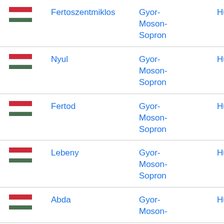| Flag | City | Region | Country |
| --- | --- | --- | --- |
| [Hungary flag] | Fertoszentmiklos | Gyor-Moson-Sopron | Hungary |
| [Hungary flag] | Nyul | Gyor-Moson-Sopron | Hungary |
| [Hungary flag] | Fertod | Gyor-Moson-Sopron | Hungary |
| [Hungary flag] | Lebeny | Gyor-Moson-Sopron | Hungary |
| [Hungary flag] | Abda | Gyor-Moson- | Hungary |